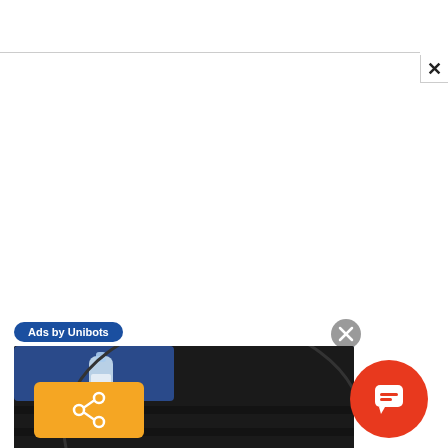[Figure (screenshot): Gray horizontal divider bar near top of page with close X button on right]
[Figure (screenshot): Ad unit: 'Ads by Unibots' blue pill label with close circle button, showing advertisement card with photo of water bottle being placed on car tire, headline 'Always Place a Bottle on Your Tire when Travelling, Here's Why', source 'Sogoodly']
[Figure (screenshot): Orange share button (bottom left) with share icon SVG]
[Figure (screenshot): Red circular chat/comments button (bottom right) with speech bubble icon]